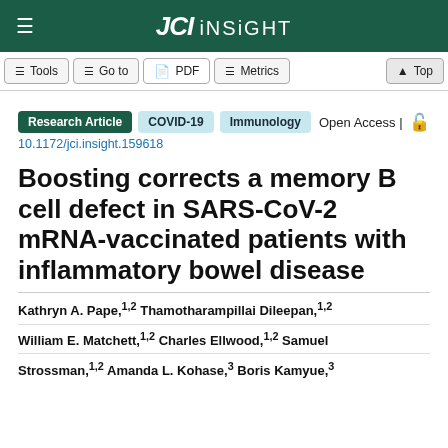JCI Insight
Tools | Go to | PDF | Metrics | Top
Research Article  COVID-19  Immunology  Open Access | 10.1172/jci.insight.159618
Boosting corrects a memory B cell defect in SARS-CoV-2 mRNA-vaccinated patients with inflammatory bowel disease
Kathryn A. Pape,1,2 Thamotharampillai Dileepan,1,2 William E. Matchett,1,2 Charles Ellwood,1,2 Samuel Strossman,1,2 Amanda L. Kohase,3 Boris Kamyue,3